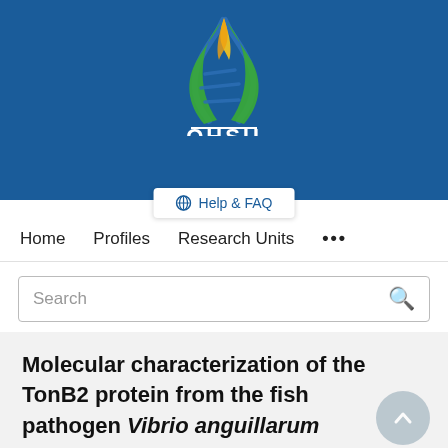[Figure (logo): OHSU (Oregon Health & Science University) logo with DNA helix flame design in blue, green, and yellow/gold colors on a dark blue banner background, with OHSU text in white below]
[Figure (other): Help & FAQ button with globe/settings icon, white background on blue banner]
Home   Profiles   Research Units   ...
Search
Molecular characterization of the TonB2 protein from the fish pathogen Vibrio anguillarum